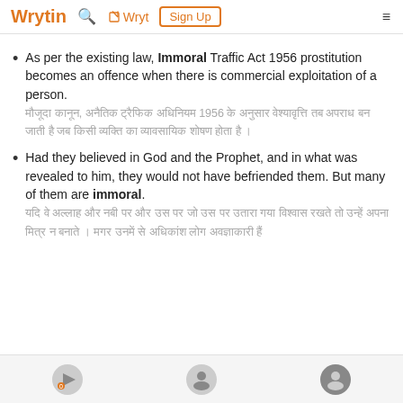Wrytin  🔍  ✏ Wryt  Sign Up  ☰
As per the existing law, Immoral Traffic Act 1956 prostitution becomes an offence when there is commercial exploitation of a person. [Hindi translation text]
Had they believed in God and the Prophet, and in what was revealed to him, they would not have befriended them. But many of them are immoral. [Hindi translation text]
[Footer icons]